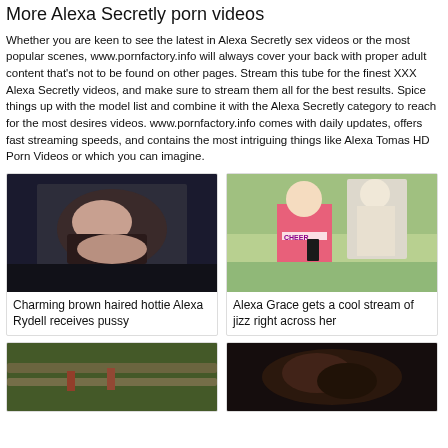More Alexa Secretly porn videos
Whether you are keen to see the latest in Alexa Secretly sex videos or the most popular scenes, www.pornfactory.info will always cover your back with proper adult content that's not to be found on other pages. Stream this tube for the finest XXX Alexa Secretly videos, and make sure to stream them all for the best results. Spice things up with the model list and combine it with the Alexa Secretly category to reach for the most desires videos. www.pornfactory.info comes with daily updates, offers fast streaming speeds, and contains the most intriguing things like Alexa Tomas HD Porn Videos or which you can imagine.
[Figure (photo): Thumbnail image - dark scene with woman lying down]
Charming brown haired hottie Alexa Rydell receives pussy
[Figure (photo): Thumbnail image - outdoor scene with cheerleader and older man]
Alexa Grace gets a cool stream of jizz right across her
[Figure (photo): Thumbnail image - outdoor scene with ropes]
[Figure (photo): Thumbnail image - dark scene]